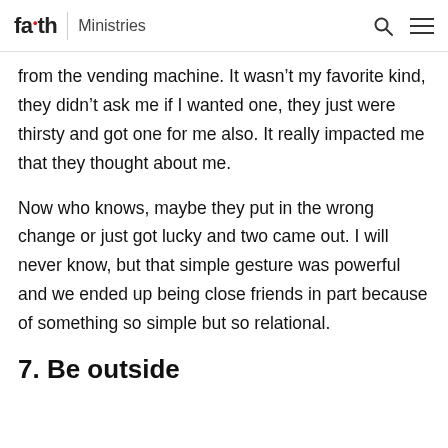faith Ministries
from the vending machine. It wasn’t my favorite kind, they didn’t ask me if I wanted one, they just were thirsty and got one for me also. It really impacted me that they thought about me.
Now who knows, maybe they put in the wrong change or just got lucky and two came out. I will never know, but that simple gesture was powerful and we ended up being close friends in part because of something so simple but so relational.
7. Be outside